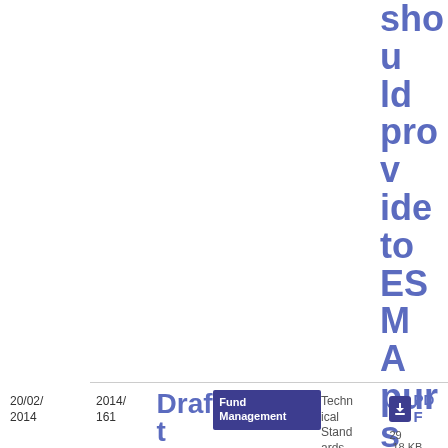should provide to ESMA pursuant to Article 67(3) of the AIFMD
20/02/2014
2014/161
Draft impleme
Fund Management
Technical Standards
PDF
29.18 KB